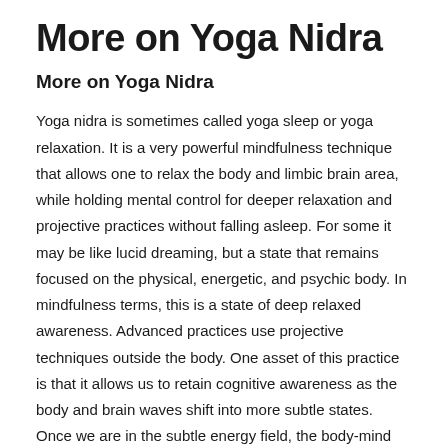More on Yoga Nidra
More on Yoga Nidra
Yoga nidra is sometimes called yoga sleep or yoga relaxation. It is a very powerful mindfulness technique that allows one to relax the body and limbic brain area, while holding mental control for deeper relaxation and projective practices without falling asleep. For some it may be like lucid dreaming, but a state that remains focused on the physical, energetic, and psychic body. In mindfulness terms, this is a state of deep relaxed awareness. Advanced practices use projective techniques outside the body. One asset of this practice is that it allows us to retain cognitive awareness as the body and brain waves shift into more subtle states. Once we are in the subtle energy field, the body-mind may be altered